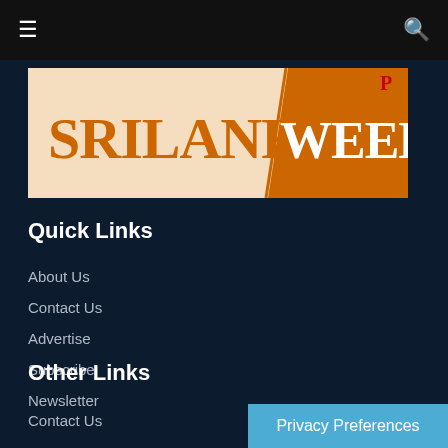≡  🔍
[Figure (logo): Sri Lanka Weekly logo — 'SRILANKA' in orange serif text on a light orange background, 'WEEKLY' in white text on an orange parallelogram background, with a red letter 'P' superscript in the top right corner.]
Quick Links
About Us
Contact Us
Advertise
Subscribe
Newsletter
Other Links
Contact Us
Privacy Preferences